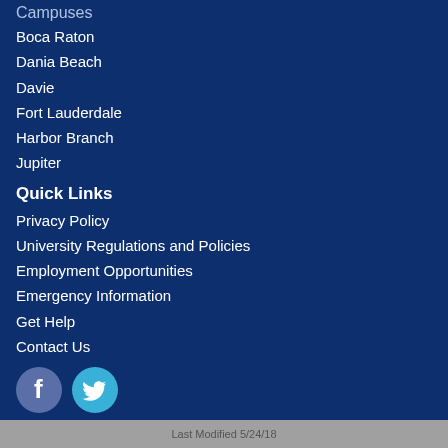Campuses
Boca Raton
Dania Beach
Davie
Fort Lauderdale
Harbor Branch
Jupiter
Quick Links
Privacy Policy
University Regulations and Policies
Employment Opportunities
Emergency Information
Get Help
Contact Us
[Figure (illustration): Facebook and Twitter social media icons]
An Equal Opportunity/Equal Access Institution
© Copyright 2022. Florida Atlantic University
Last Modified 5/24/18